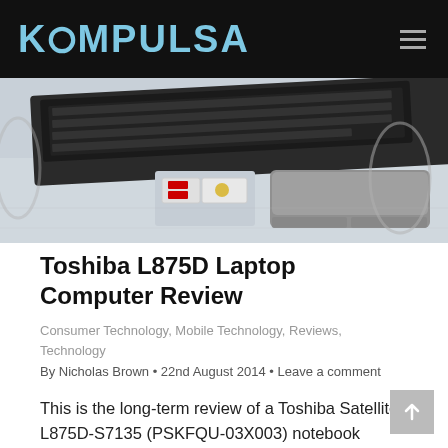KOMPULSA
[Figure (photo): Close-up photo of a Toshiba laptop keyboard and touchpad on a table outdoors]
Toshiba L875D Laptop Computer Review
Consumer Technology, Mobile Technology, Reviews, Technology
By Nicholas Brown • 22nd August 2014 • Leave a comment
This is the long-term review of a Toshiba Satellite L875D-S7135 (PSKFQU-03X003) notebook computer I purchased in November 2013. Convenience Whenever shopping for laptops, I